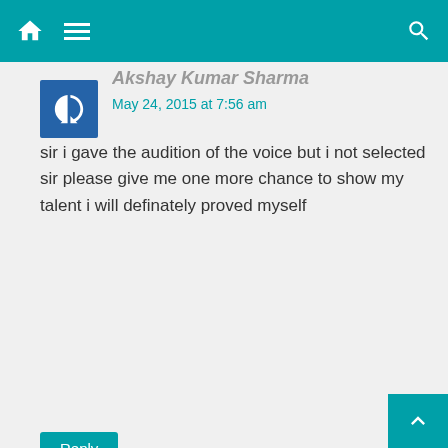Navigation bar with home, menu, and search icons
Akshay Kumar Sharma
May 24, 2015 at 7:56 am
sir i gave the audition of the voice but i not selected sir please give me one more chance to show my talent i will definately proved myself
Reply
Ramu Dixit
June 5, 2015 at 10:25 am
Hi sir i m. ramu dixit Pls give me singing audition date plz ek new chans...e-mail-ramu10dixit@gmail.com......plz......audition date..... sms